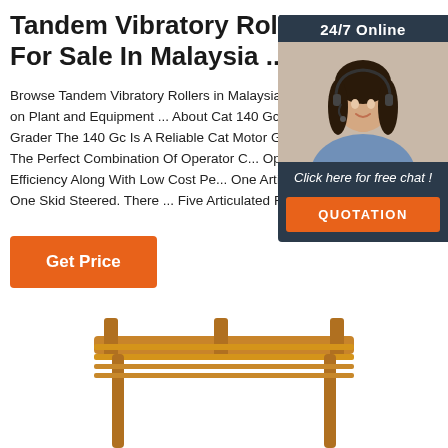Tandem Vibratory Rollers For Sale In Malaysia ...
Browse Tandem Vibratory Rollers in Malaysia and more on Plant and Equipment ... About Cat 140 Gc Motor Grader The 140 Gc Is A Reliable Cat Motor Gr... Offers The Perfect Combination Of Operator C... Operational Efficiency Along With Low Cost Pe... One Articulated And One Skid Steered. There ... Five Articulated Ride On ...
[Figure (other): Orange 'Get Price' button]
[Figure (other): 24/7 Online chat widget with woman wearing headset, dark navy background, 'Click here for free chat!' text, and orange QUOTATION button]
[Figure (photo): Bottom portion of a wooden pergola or gazebo structure with orange-brown wooden beams visible at bottom of page]